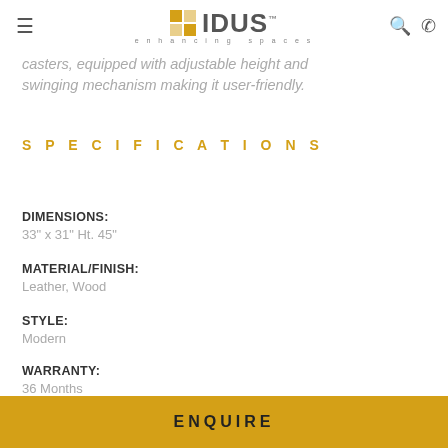IDUS — enhancing spaces
casters, equipped with adjustable height and swinging mechanism making it user-friendly.
SPECIFICATIONS
DIMENSIONS:
33" x 31" Ht. 45"
MATERIAL/FINISH:
Leather, Wood
STYLE:
Modern
WARRANTY:
36 Months
ENQUIRE